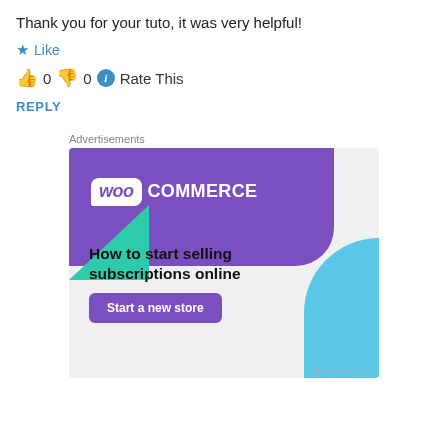Thank you for your tuto, it was very helpful!
★ Like
👍 0 👎 0 ℹ Rate This
REPLY
Advertisements
[Figure (infographic): WooCommerce advertisement banner with purple header, teal triangle, blue quarter-circle, and text 'How to start selling subscriptions online' with 'Start a new store' button.]